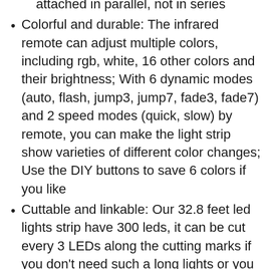attached in parallel, not in series
Colorful and durable: The infrared remote can adjust multiple colors, including rgb, white, 16 other colors and their brightness; With 6 dynamic modes (auto, flash, jump3, jump7, fade3, fade7) and 2 speed modes (quick, slow) by remote, you can make the light strip show varieties of different color changes; Use the DIY buttons to save 6 colors if you like
Cuttable and linkable: Our 32.8 feet led lights strip have 300 leds, it can be cut every 3 LEDs along the cutting marks if you don't need such a long lights or you could extral connectors to extend the lights for your bedroom, TV, desk, computer indoor...